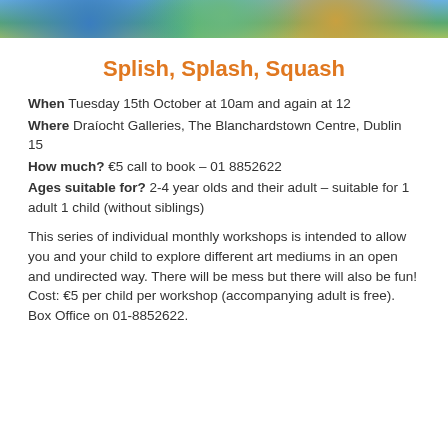[Figure (photo): Partial view of a colorful artwork or craft image at the top of the page, showing blues, greens, and earthy tones.]
Splish, Splash, Squash
When Tuesday 15th October at 10am and again at 12
Where Draíocht Galleries, The Blanchardstown Centre, Dublin 15
How much? €5 call to book – 01 8852622
Ages suitable for? 2-4 year olds and their adult – suitable for 1 adult 1 child (without siblings)
This series of individual monthly workshops is intended to allow you and your child to explore different art mediums in an open and undirected way. There will be mess but there will also be fun! Cost: €5 per child per workshop (accompanying adult is free). Box Office on 01-8852622.